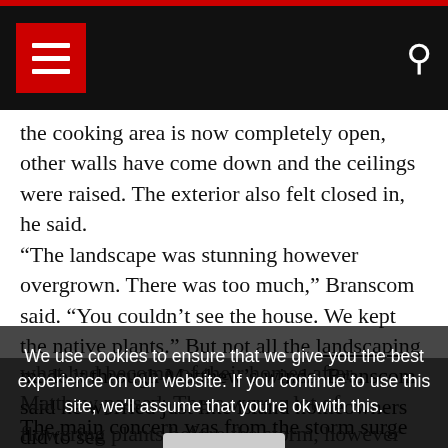Navigation bar with hamburger menu and search icon
the cooking area is now completely open, other walls have come down and the ceilings were raised. The exterior also felt closed in, he said.
“The landscape was stunning however overgrown. There was too much,” Branscom said. “You couldn’t see the house. We kept the native plants.” But not all the landscaping made it through Matthew’s winds. Branscom said he worried just like island homeowners did to see what had become of their homes after Matthew passed. There were a lot of flowering plants before the storm, however those were either killed by the wind. In the cleanup of all the debris. “It took 5 days to find. All was OK,” he stated.
We use cookies to ensure that we give you the best experience on our website. If you continue to use this site, we’ll assume that you’re ok with this.
The main concern was from the storm surge that had